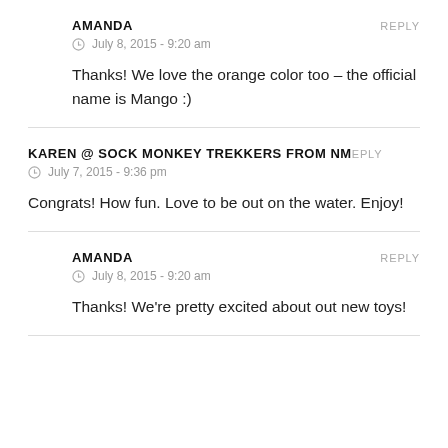AMANDA — REPLY
⊙ July 8, 2015 - 9:20 am
Thanks! We love the orange color too – the official name is Mango :)
KAREN @ SOCK MONKEY TREKKERS FROM NM — REPLY
⊙ July 7, 2015 - 9:36 pm
Congrats! How fun. Love to be out on the water. Enjoy!
AMANDA — REPLY
⊙ July 8, 2015 - 9:20 am
Thanks! We're pretty excited about out new toys!